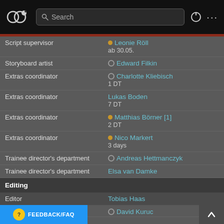[Figure (screenshot): App navigation bar with logo, search bar, power icon and menu dots]
| Role | Name/Detail |
| --- | --- |
| Script supervisor | Leonie Röll / ab 30.05. |
| Storyboard artist | Edward Filkin |
| Extras coordinator | Charlotte Kliebisch / 1 DT |
| Extras coordinator | Lukas Boden / 7 DT |
| Extras coordinator | Matthias Börner [1] / 2 DT |
| Extras coordinator | Nico Markert / 3 days |
| Trainee director's department | Andreas Hettmanczyk |
| Trainee director's department | Elsa van Damke |
Editing
| Role | Name |
| --- | --- |
| Editor | Tobias Haas |
|  | David Kuruc |